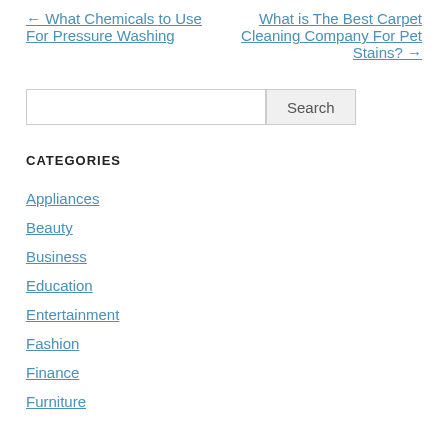← What Chemicals to Use For Pressure Washing
What is The Best Carpet Cleaning Company For Pet Stains? →
Search
CATEGORIES
Appliances
Beauty
Business
Education
Entertainment
Fashion
Finance
Furniture